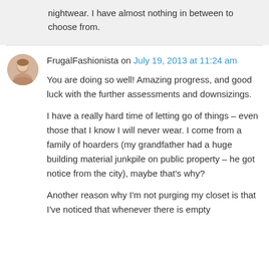nightwear. I have almost nothing in between to choose from.
FrugalFashionista on July 19, 2013 at 11:24 am
You are doing so well! Amazing progress, and good luck with the further assessments and downsizings.
I have a really hard time of letting go of things – even those that I know I will never wear. I come from a family of hoarders (my grandfather had a huge building material junkpile on public property – he got notice from the city), maybe that's why?
Another reason why I'm not purging my closet is that I've noticed that whenever there is empty